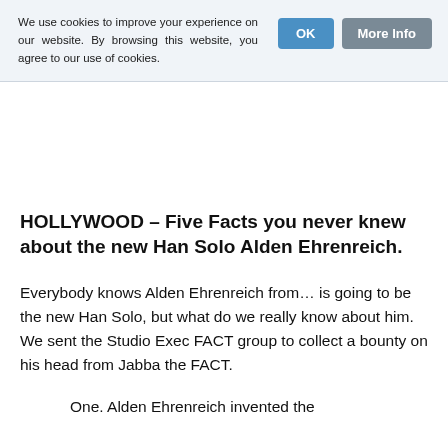We use cookies to improve your experience on our website. By browsing this website, you agree to our use of cookies.
HOLLYWOOD – Five Facts you never knew about the new Han Solo Alden Ehrenreich.
Everybody knows Alden Ehrenreich from… is going to be the new Han Solo, but what do we really know about him. We sent the Studio Exec FACT group to collect a bounty on his head from Jabba the FACT.
One. Alden Ehrenreich invented the